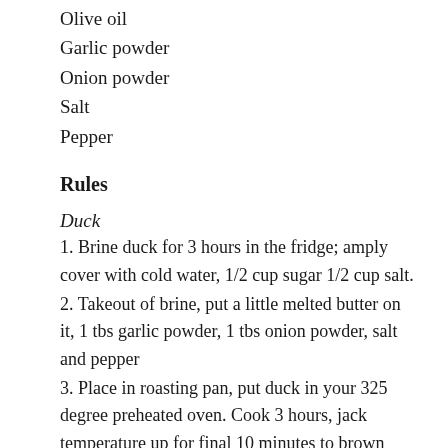Olive oil
Garlic powder
Onion powder
Salt
Pepper
Rules
Duck
1. Brine duck for 3 hours in the fridge; amply cover with cold water, 1/2 cup sugar 1/2 cup salt.
2. Takeout of brine, put a little melted butter on it, 1 tbs garlic powder, 1 tbs onion powder, salt and pepper
3. Place in roasting pan, put duck in your 325 degree preheated oven. Cook 3 hours, jack temperature up for final 10 minutes to brown skin.